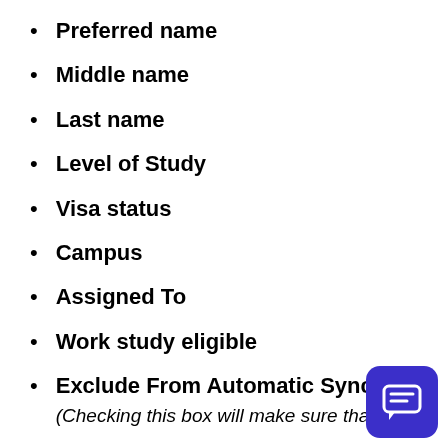Preferred name
Middle name
Last name
Level of Study
Visa status
Campus
Assigned To
Work study eligible
Exclude From Automatic Syncs
(Checking this box will make sure that this